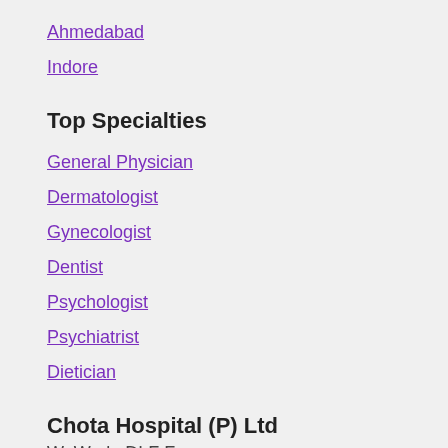Ahmedabad
Indore
Top Specialties
General Physician
Dermatologist
Gynecologist
Dentist
Psychologist
Psychiatrist
Dietician
Chota Hospital (P) Ltd
WeWork, DLF Forum